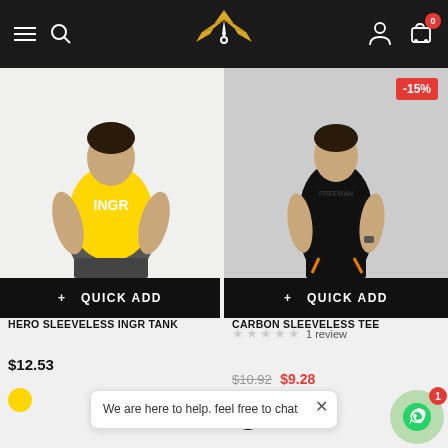[Figure (screenshot): E-commerce website header with hamburger menu, search icon, logo (bird/lightning bolt), account icon, and cart icon with badge showing 0]
[Figure (photo): Man in yellow sleeveless tank top with INGR text, arms on hips, with Quick Add button below]
[Figure (photo): Man in black sleeveless tee holding exercise band, with -15% discount badge and Quick Add button below]
HERO SLEEVELESS INGR TANK
CARBON SLEEVELESS TEE
1 review
$12.53
$10.92  $9.28
We are here to help. feel free to chat